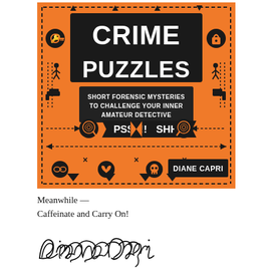[Figure (illustration): Book cover of 'Crime Puzzles: Short Forensic Mysteries to Challenge Your Inner Amateur Detective' by Diane Capri. Orange background with black geometric border design featuring crime-themed icons (key, lock, gun, fingerprint, DNA, broken heart, skull, hourglass). Large bold white text 'CRIME PUZZLES' on black background. Subtitle on dark background. Banner reading 'PSST!!' and 'SHHH!' with hourglass icon. Author name 'DIANE CAPRI' on black rectangle at bottom right.]
Meanwhile —
Caffeinate and Carry On!
[Figure (illustration): Handwritten signature of Diane Capri in cursive script]